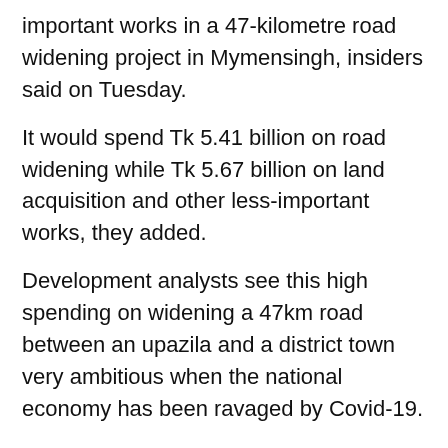important works in a 47-kilometre road widening project in Mymensingh, insiders said on Tuesday.
It would spend Tk 5.41 billion on road widening while Tk 5.67 billion on land acquisition and other less-important works, they added.
Development analysts see this high spending on widening a 47km road between an upazila and a district town very ambitious when the national economy has been ravaged by Covid-19.
The RHD has recently undertaken the 'Widening of Madhupur-Mymensingh national highway (N-401) with due standard' project at Tk 11.07 billion.
As proposed, the national road developer will spend Tk 5.41 billion on the 47.13km road-widening works, including expansion of road embankment (earthenwork), pavement reconstruction, PC-girder